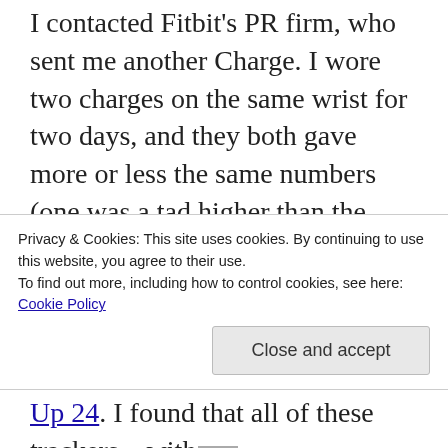I contacted Fitbit's PR firm, who sent me another Charge. I wore two charges on the same wrist for two days, and they both gave more or less the same numbers (one was a tad higher than the other). So it's not just a single bad unit, it's the Charge in general that's inaccurate. I'll stick with the Fitbit One.
Original review:
I've been using the Fitbit One fitness tracker for about two years, I've gotten so it...
Privacy & Cookies: This site uses cookies. By continuing to use this website, you agree to their use. To find out more, including how to control cookies, see here: Cookie Policy
Close and accept
Up 24. I found that all of these trackers – with the exception of the Fitbit One, were